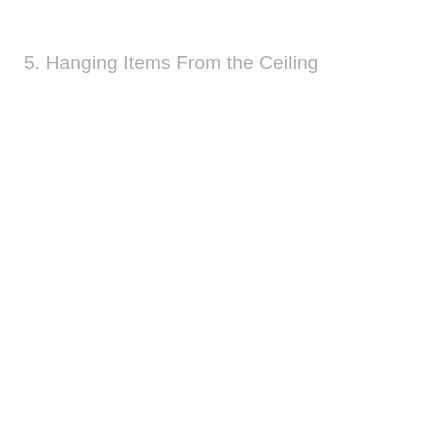5. Hanging Items From the Ceiling